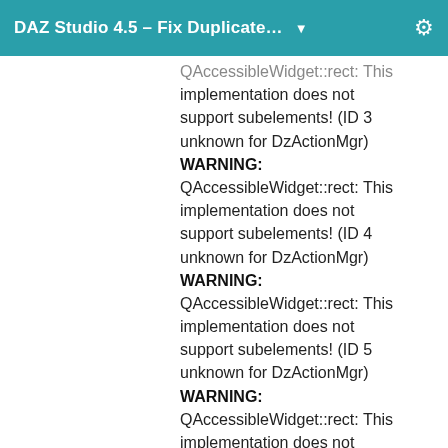DAZ Studio 4.5 – Fix Duplicate... ▼ ⚙
QAccessibleWidget::rect: This implementation does not support subelements! (ID 3 unknown for DzActionMgr) WARNING: QAccessibleWidget::rect: This implementation does not support subelements! (ID 4 unknown for DzActionMgr) WARNING: QAccessibleWidget::rect: This implementation does not support subelements! (ID 5 unknown for DzActionMgr) WARNING: QAccessibleWidget::rect: This implementation does not support subelements! (ID 6 ...